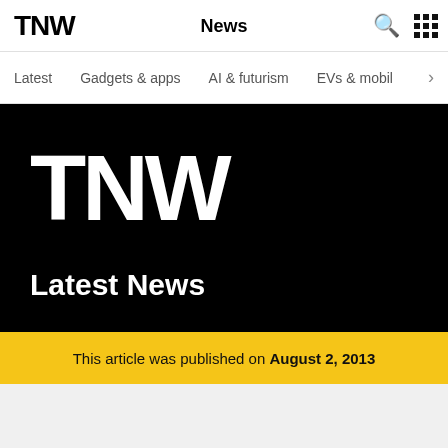TNW   News
Latest   Gadgets & apps   AI & futurism   EVs & mobil  >
[Figure (logo): TNW logo in large white text on black background]
Latest News
This article was published on August 2, 2013